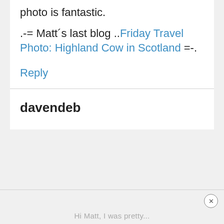The city above the clouds photo is fantastic.
.-= Matt´s last blog ..Friday Travel Photo: Highland Cow in Scotland =-.
Reply
davendeb
Hi Matt, I was pretty...